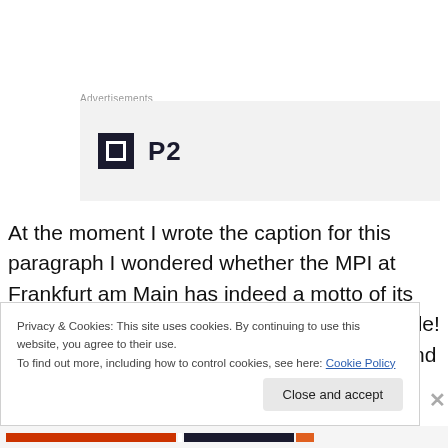Advertisements
[Figure (logo): P2 logo advertisement banner with dark square icon and bold P2 text on grey background]
At the moment I wrote the caption for this paragraph I wondered whether the MPI at Frankfurt am Main has indeed a motto of its own, but this one could very well play this role! In the face of many other fields of science and law for which the Max-Planck-Gesellschaft has created
Privacy & Cookies: This site uses cookies. By continuing to use this website, you agree to their use.
To find out more, including how to control cookies, see here: Cookie Policy
Close and accept